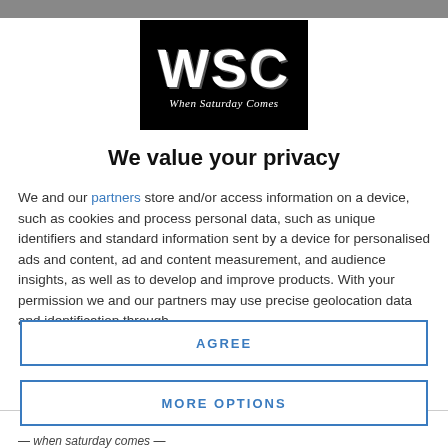[Figure (logo): WSC - When Saturday Comes logo: black box with large white WSC letters and italic subtitle 'When Saturday Comes']
We value your privacy
We and our partners store and/or access information on a device, such as cookies and process personal data, such as unique identifiers and standard information sent by a device for personalised ads and content, ad and content measurement, and audience insights, as well as to develop and improve products. With your permission we and our partners may use precise geolocation data and identification through
AGREE
MORE OPTIONS